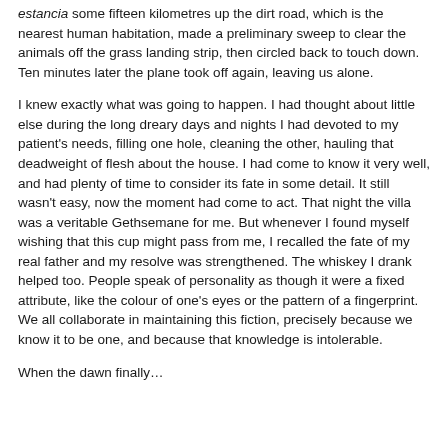estancia some fifteen kilometres up the dirt road, which is the nearest human habitation, made a preliminary sweep to clear the animals off the grass landing strip, then circled back to touch down. Ten minutes later the plane took off again, leaving us alone.
I knew exactly what was going to happen. I had thought about little else during the long dreary days and nights I had devoted to my patient's needs, filling one hole, cleaning the other, hauling that deadweight of flesh about the house. I had come to know it very well, and had plenty of time to consider its fate in some detail. It still wasn't easy, now the moment had come to act. That night the villa was a veritable Gethsemane for me. But whenever I found myself wishing that this cup might pass from me, I recalled the fate of my real father and my resolve was strengthened. The whiskey I drank helped too. People speak of personality as though it were a fixed attribute, like the colour of one's eyes or the pattern of a fingerprint. We all collaborate in maintaining this fiction, precisely because we know it to be one, and because that knowledge is intolerable.
When the dawn finally...